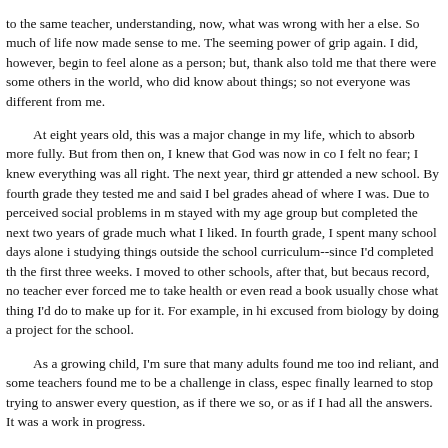to the same teacher, understanding, now, what was wrong with her a else. So much of life now made sense to me. The seeming power of grip again. I did, however, begin to feel alone as a person; but, thank also told me that there were some others in the world, who did know about things; so not everyone was different from me.
At eight years old, this was a major change in my life, which to absorb more fully. But from then on, I knew that God was now in co I felt no fear; I knew everything was all right. The next year, third gr attended a new school. By fourth grade they tested me and said I bel grades ahead of where I was. Due to perceived social problems in m stayed with my age group but completed the next two years of grade much what I liked. In fourth grade, I spent many school days alone i studying things outside the school curriculum--since I'd completed th the first three weeks. I moved to other schools, after that, but becaus record, no teacher ever forced me to take health or even read a book usually chose what thing I'd do to make up for it. For example, in hi excused from biology by doing a project for the school.
As a growing child, I'm sure that many adults found me too ind reliant, and some teachers found me to be a challenge in class, espec finally learned to stop trying to answer every question, as if there we so, or as if I had all the answers. It was a work in progress.
As time moved on, I began to understand that the 'curtain' or sp which was described to me when I was eight, is the belief in materia